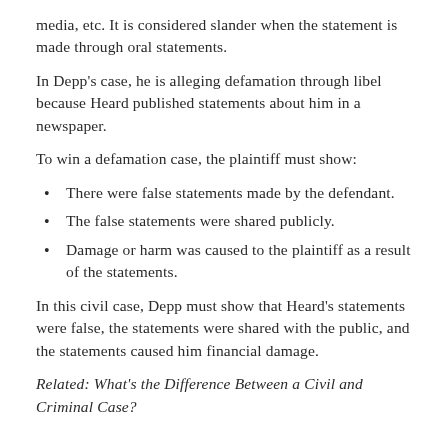media, etc. It is considered slander when the statement is made through oral statements.
In Depp's case, he is alleging defamation through libel because Heard published statements about him in a newspaper.
To win a defamation case, the plaintiff must show:
There were false statements made by the defendant.
The false statements were shared publicly.
Damage or harm was caused to the plaintiff as a result of the statements.
In this civil case, Depp must show that Heard's statements were false, the statements were shared with the public, and the statements caused him financial damage.
Related: What's the Difference Between a Civil and Criminal Case?